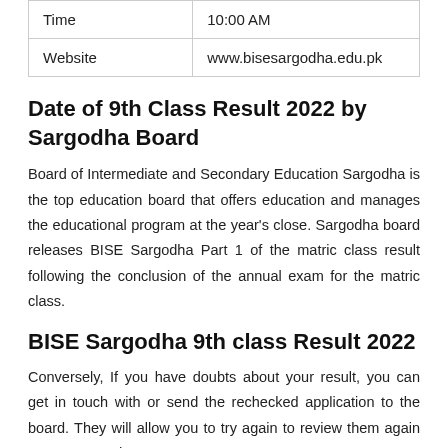| Time | 10:00 AM |
| Website | www.bisesargodha.edu.pk |
Date of 9th Class Result 2022 by Sargodha Board
Board of Intermediate and Secondary Education Sargodha is the top education board that offers education and manages the educational program at the year's close. Sargodha board releases BISE Sargodha Part 1 of the matric class result following the conclusion of the annual exam for the matric class.
BISE Sargodha 9th class Result 2022
Conversely, If you have doubts about your result, you can get in touch with or send the rechecked application to the board. They will allow you to try again to review them again on paper. Students